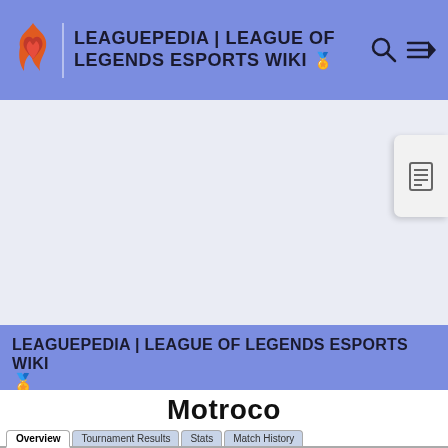LEAGUEPEDIA | LEAGUE OF LEGENDS ESPORTS WIKI
[Figure (screenshot): Leaguepedia wiki page header with flame/heart logo, site title, search icon, and hamburger menu icon on a blue-purple background]
[Figure (screenshot): Advertisement or blank area below header, with a floating document/TOC icon on the right side]
LEAGUEPEDIA | LEAGUE OF LEGENDS ESPORTS WIKI
Motroco
Overview | Tournament Results | Stats | Match History
| Motroco |
| --- |
| (photo of person) |